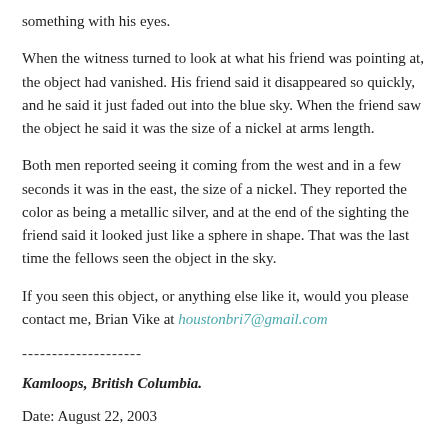something with his eyes.
When the witness turned to look at what his friend was pointing at, the object had vanished. His friend said it disappeared so quickly, and he said it just faded out into the blue sky. When the friend saw the object he said it was the size of a nickel at arms length.
Both men reported seeing it coming from the west and in a few seconds it was in the east, the size of a nickel. They reported the color as being a metallic silver, and at the end of the sighting the friend said it looked just like a sphere in shape. That was the last time the fellows seen the object in the sky.
If you seen this object, or anything else like it, would you please contact me, Brian Vike at houstonbri7@gmail.com
--------------------
Kamloops, British Columbia.
Date: August 22, 2003